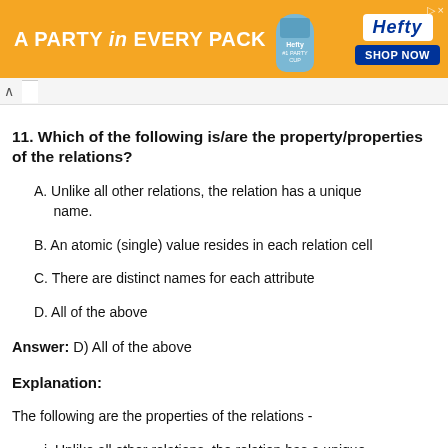[Figure (other): Hefty advertisement banner with orange background: 'A PARTY in EVERY PACK' text, Hefty logo and 'SHOP NOW' button]
11. Which of the following is/are the property/properties of the relations?
A. Unlike all other relations, the relation has a unique name.
B. An atomic (single) value resides in each relation cell
C. There are distinct names for each attribute
D. All of the above
Answer: D) All of the above
Explanation:
The following are the properties of the relations -
i. Unlike all other relations, the relation has a unique name.